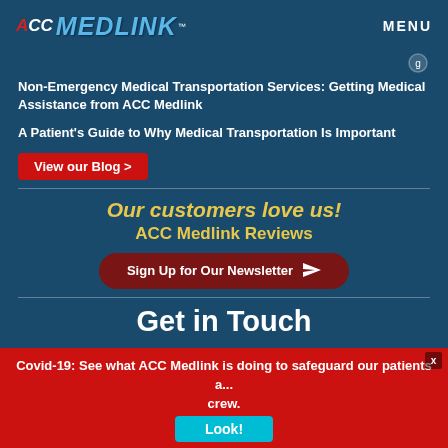ACC MEDLINK™  MENU
[Figure (screenshot): Partial decorative element at top of content area]
Non-Emergency Medical Transportation Services: Getting Medical Assistance from ACC Medlink
A Patient's Guide to Why Medical Transportation Is Important
View our Blog >
Our customers love us! ACC Medlink Reviews
Sign Up for Our Newsletter
Get in Touch
Covid-19: See what ACC Medlink is doing to safeguard our patients and crew.
Look!